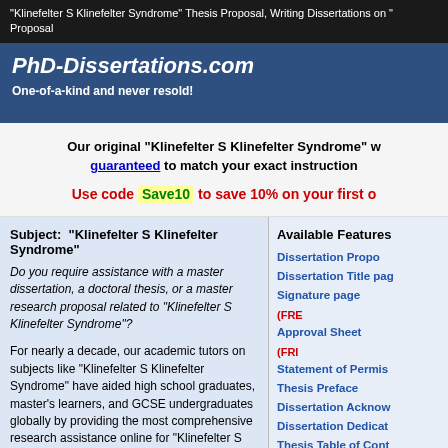"Klinefelter S Klinefelter Syndrome" Thesis Proposal, Writing Dissertations on " Proposal
PhD-Dissertations.com
One-of-a-kind and never resold!
Our original "Klinefelter S Klinefelter Syndrome" w... guaranteed to match your exact instruction...
Use code Save10 to save 10% on your first o...
Subject: "Klinefelter S Klinefelter Syndrome"
Do you require assistance with a master dissertation, a doctoral thesis, or a master research proposal related to "Klinefelter S Klinefelter Syndrome"?
For nearly a decade, our academic tutors on subjects like "Klinefelter S Klinefelter Syndrome" have aided high school graduates, master's learners, and GCSE undergraduates globally by providing the most comprehensive research assistance online for "Klinefelter S Klinefelter Syndrome" projects and coursework. If you need help with your MBA...
Available Features
Dissertation Propo...
Dissertation Title pag...
Signature page (FREE)
Approval Sheet (FREE)
Statement of Permis...
Thesis Preface
Dissertation Acknow...
Dissertation Dedicat...
Thesis Table of Cont...
Dissertation List of T...
List of Symbols and...
Abstract